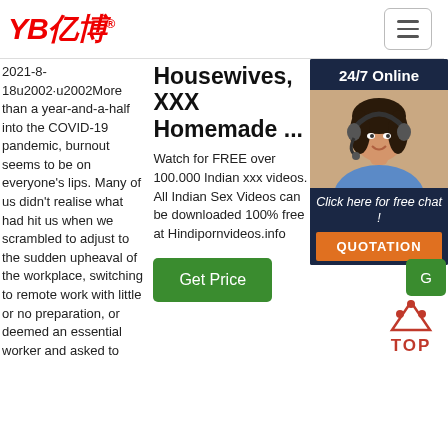[Figure (logo): YB亿博 logo in red italic bold text with registered trademark symbol, and a hamburger menu icon on the right]
2021-8-18u2002·u2002More than a year-and-a-half into the COVID-19 pandemic, burnout seems to be on everyone's lips. Many of us didn't realise what had hit us when we scrambled to adjust to the sudden upheaval of the workplace, switching to remote work with little or no preparation, or deemed an essential worker and asked to
Housewives, XXX Homemade ...
Watch for FREE over 100.000 Indian xxx videos. All Indian Sex Videos can be downloaded 100% free at Hindipornvideos.info
[Figure (screenshot): Get Price green button]
everything at eHow. Find along videos including instructions to more grow any
[Figure (infographic): 24/7 Online chat panel with woman wearing headset, Click here for free chat!, QUOTATION button in orange]
[Figure (illustration): TOP button with orange triangle/dots icon above the word TOP in red]